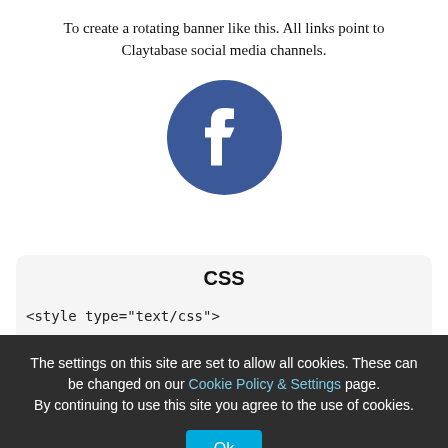To create a rotating banner like this. All links point to Claytabase social media channels.
[Figure (logo): Facebook logo icon — blue circle with white 'f']
CSS
<style type="text/css">
The settings on this site are set to allow all cookies. These can be changed on our Cookie Policy & Settings page. By continuing to use this site you agree to the use of cookies.
Ok